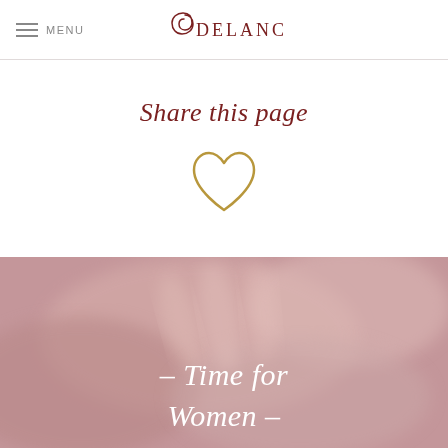MENU | DELANCE
Share this page
[Figure (illustration): Heart outline icon in gold/tan color]
[Figure (photo): Blurred pink-toned background photo of women's hands/wrists, with overlay text '– Time for Women –']
– Time for Women –